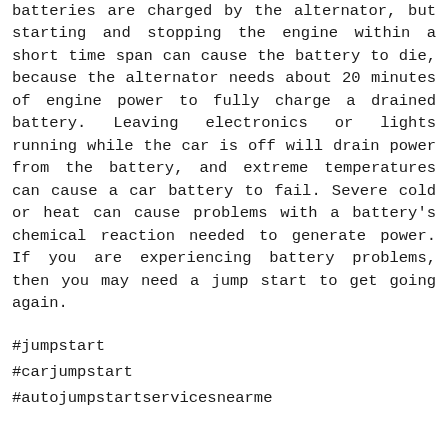batteries are charged by the alternator, but starting and stopping the engine within a short time span can cause the battery to die, because the alternator needs about 20 minutes of engine power to fully charge a drained battery. Leaving electronics or lights running while the car is off will drain power from the battery, and extreme temperatures can cause a car battery to fail. Severe cold or heat can cause problems with a battery's chemical reaction needed to generate power. If you are experiencing battery problems, then you may need a jump start to get going again.
#jumpstart
#carjumpstart
#autojumpstartservicesnearme